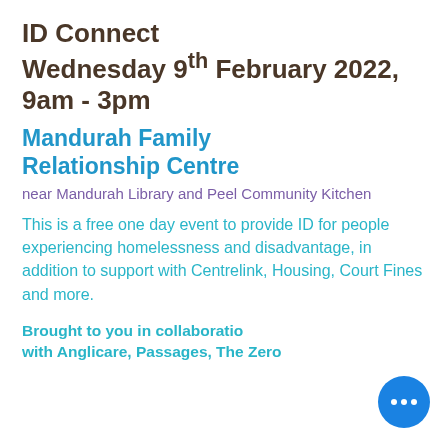ID Connect
Wednesday 9th February 2022, 9am - 3pm
Mandurah Family Relationship Centre
near Mandurah Library and Peel Community Kitchen
This is a free one day event to provide ID for people experiencing homelessness and disadvantage, in addition to support with Centrelink, Housing, Court Fines and more.
Brought to you in collaboration with Anglicare, Passages, The Zero